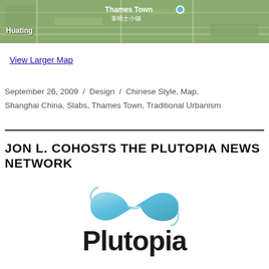[Figure (map): Google Maps satellite/hybrid view showing Thames Town area near Shanghai, with labels for Huating and Thames Town (泰晤士小镇)]
View Larger Map
September 26, 2009 / Design / Chinese Style, Map, Shanghai China, Slabs, Thames Town, Traditional Urbanism
JON L. COHOSTS THE PLUTOPIA NEWS NETWORK
[Figure (logo): Plutopia logo with a blue infinity ribbon symbol above the word Plutopia in bold dark letters]